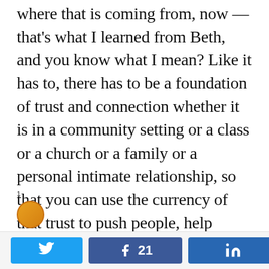where that is coming from, now — that's what I learned from Beth, and you know what I mean? Like it has to, there has to be a foundation of trust and connection whether it is in a community setting or a class or a church or a family or a personal intimate relationship, so that you can use the currency of that trust to push people, help people, guide people, stand with people as they face some really hard truths.
21 SHARES (Twitter share, Facebook share with count 21, LinkedIn share)